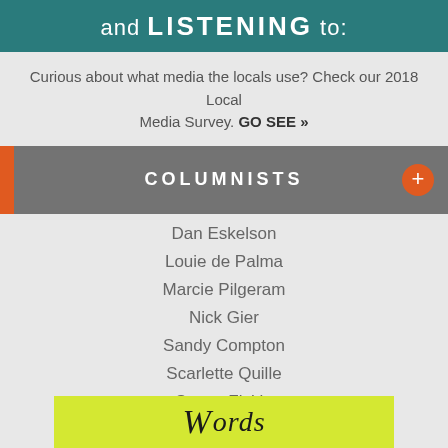and LISTENING to:
Curious about what media the locals use? Check our 2018 Local Media Survey. GO SEE »
COLUMNISTS
Dan Eskelson
Louie de Palma
Marcie Pilgeram
Nick Gier
Sandy Compton
Scarlette Quille
Suzen Fiskin
Ted Bowers
Tim Henney
[Figure (illustration): Yellow banner with handwritten-style text beginning with 'W']